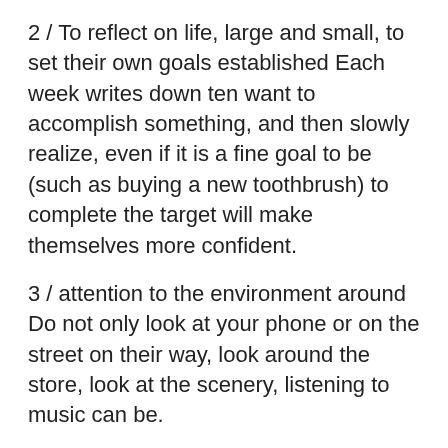2 / To reflect on life, large and small, to set their own goals established Each week writes down ten want to accomplish something, and then slowly realize, even if it is a fine goal to be (such as buying a new toothbrush) to complete the target will make themselves more confident.
3 / attention to the environment around Do not only look at your phone or on the street on their way, look around the store, look at the scenery, listening to music can be.